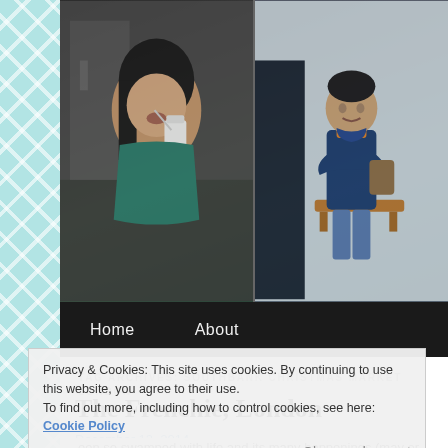[Figure (photo): Header banner with two photos side by side: left shows an Asian woman eating ice cream from a cup, right shows a young man standing with arms crossed in front of a storefront]
Home   About
TAG ARCHIVES: SOUTHBANK CHRISTMAS MARKET LONDON
The Frenchie, London
December 13, 2014
Privacy & Cookies: This site uses cookies. By continuing to use this website, you agree to their use. To find out more, including how to control cookies, see here: Cookie Policy
Close and accept
een so swamped with life and its many happenings (may or may not have involved 51% play 49% work :P)  in general that i haven't managed to find much time to write about all the exciting foodie adventures i've been on